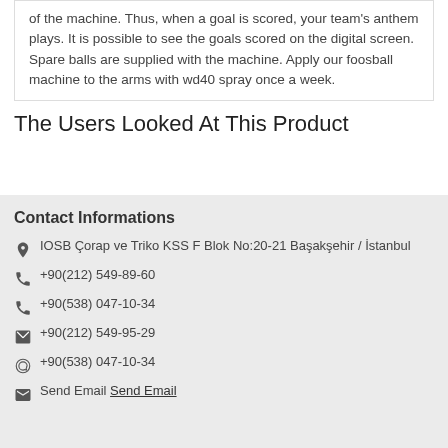of the machine. Thus, when a goal is scored, your team's anthem plays. It is possible to see the goals scored on the digital screen. Spare balls are supplied with the machine. Apply our foosball machine to the arms with wd40 spray once a week.
The Users Looked At This Product
Contact Informations
IOSB Çorap ve Triko KSS F Blok No:20-21 Başakşehir / İstanbul
+90(212) 549-89-60
+90(538) 047-10-34
+90(212) 549-95-29
+90(538) 047-10-34
Send Email Send Email